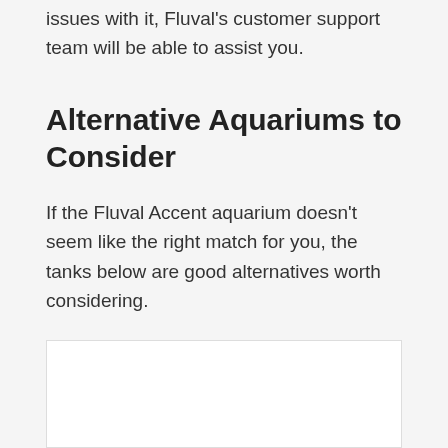issues with it, Fluval's customer support team will be able to assist you.
Alternative Aquariums to Consider
If the Fluval Accent aquarium doesn't seem like the right match for you, the tanks below are good alternatives worth considering.
[Figure (photo): White/blank image placeholder box at the bottom of the page]